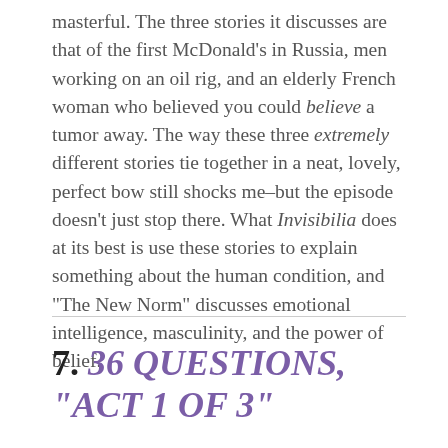masterful. The three stories it discusses are that of the first McDonald's in Russia, men working on an oil rig, and an elderly French woman who believed you could believe a tumor away. The way these three extremely different stories tie together in a neat, lovely, perfect bow still shocks me–but the episode doesn't just stop there. What Invisibilia does at its best is use these stories to explain something about the human condition, and "The New Norm" discusses emotional intelligence, masculinity, and the power of belief.
7. 36 QUESTIONS, "ACT 1 OF 3"